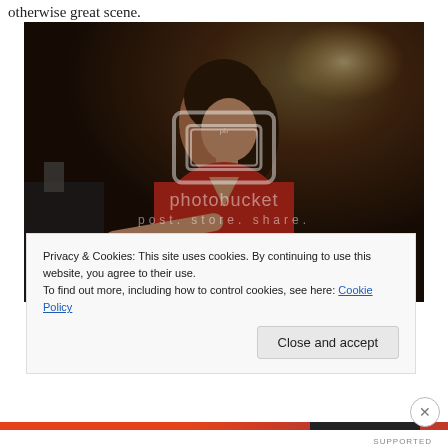otherwise great scene.
[Figure (photo): Woman in red dress at a bar or casino, with Photobucket watermark overlay]
Privacy & Cookies: This site uses cookies. By continuing to use this website, you agree to their use.
To find out more, including how to control cookies, see here: Cookie Policy
Close and accept